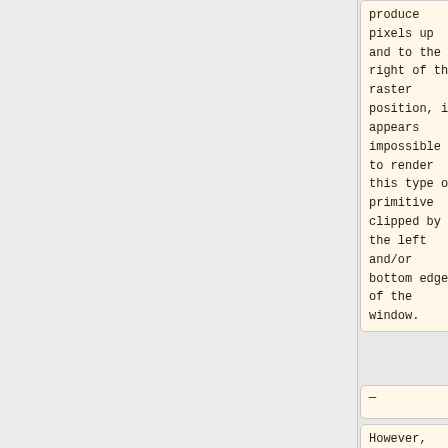produce pixels up and to the right of the raster position, it appears impossible to render this type of primitive clipped by the left and/or bottom edges of the window.
—
However, here's an often used